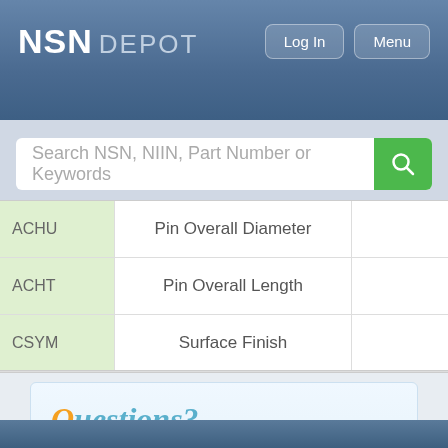NSN DEPOT
| Code | Description | Value |
| --- | --- | --- |
| ACHU | Pin Overall Diameter |  |
| ACHT | Pin Overall Length |  |
| CSYM | Surface Finish |  |
Questions?